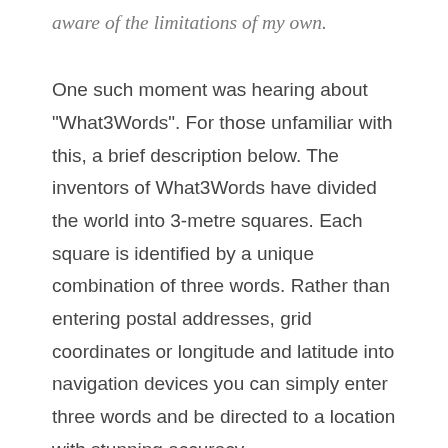aware of the limitations of my own.
One such moment was hearing about "What3Words". For those unfamiliar with this, a brief description below. The inventors of What3Words have divided the world into 3-metre squares. Each square is identified by a unique combination of three words. Rather than entering postal addresses, grid coordinates or longitude and latitude into navigation devices you can simply enter three words and be directed to a location with stunning accuracy.
The UK emergency services now send a link to the app to lost mountaineers and